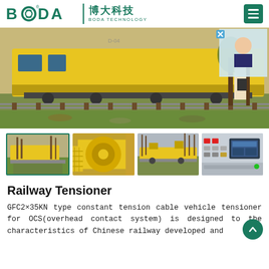BODA 博大科技 BODA TECHNOLOGY
[Figure (photo): Large yellow railway maintenance train/tensioner vehicle on railway tracks, green foliage and trees in background]
[Figure (photo): Four thumbnail images: (1) yellow railway tensioner vehicle on tracks with bare trees, bordered in teal; (2) close-up of yellow cable drum/reel machinery; (3) yellow railway tensioner equipment on tracks; (4) control panel with buttons and screen]
Railway Tensioner
GFC2×35KN type constant tension cable vehicle tensioner for OCS(overhead contact system) is designed to the characteristics of Chinese railway developed and